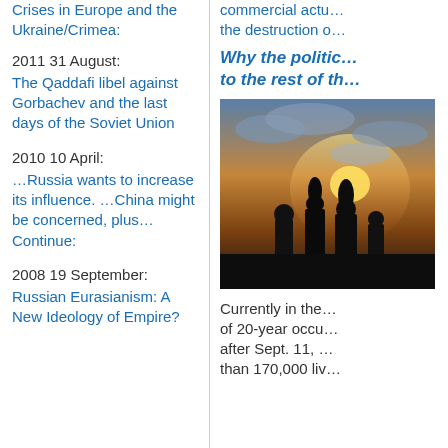Crises in Europe and the Ukraine/Crimea:
2011 31 August:
The Qaddafi libel against Gorbachev and the last days of the Soviet Union
2010 10 April:
…Russia wants to increase its influence. …China might be concerned, plus… Continue:
2008 19 September:
Russian Eurasianism: A New Ideology of Empire?
commercial actu… the destruction o…
Why the politic… to the rest of th…
[Figure (photo): Silhouette of people against a dramatic sunset sky with clouds]
Currently in the… of 20-year occu… after Sept. 11, … than 170,000 liv…